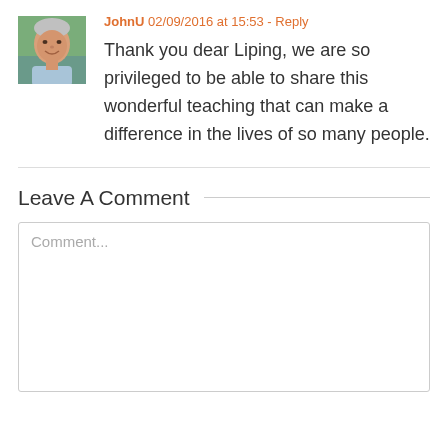[Figure (photo): Headshot of an older man with grey/white hair, wearing a light blue shirt, outdoors with greenery in background.]
JohnU  02/09/2016 at 15:53 - Reply
Thank you dear Liping, we are so privileged to be able to share this wonderful teaching that can make a difference in the lives of so many people.
Leave A Comment
Comment...